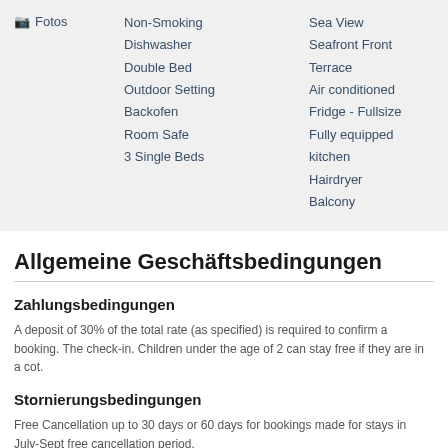[Figure (other): Camera icon next to Fotos label]
Non-Smoking
Dishwasher
Double Bed
Outdoor Setting
Backofen
Room Safe
3 Single Beds
Sea View
Seafront Front Terrace
Air conditioned
Fridge - Fullsize
Fully equipped kitchen
Hairdryer
Balcony
Allgemeine Geschäftsbedingungen
Zahlungsbedingungen
A deposit of 30% of the total rate (as specified) is required to confirm a booking. The check-in. Children under the age of 2 can stay free if they are in a cot.
Stornierungsbedingungen
Free Cancellation up to 30 days or 60 days for bookings made for stays in July-Sept free cancellation period.
Guests are strongly advised to take out comprehensive holiday and travel insurance